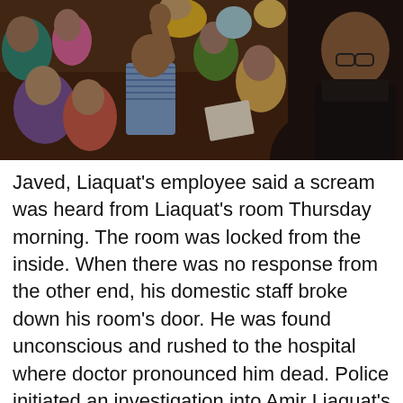[Figure (photo): A crowd of people reaching out toward a man on the right in a dark turtleneck, apparently a public figure interacting with supporters at an indoor event.]
Javed, Liaquat's employee said a scream was heard from Liaquat's room Thursday morning. The room was locked from the inside. When there was no response from the other end, his domestic staff broke down his room's door. He was found unconscious and rushed to the hospital where doctor pronounced him dead. Police initiated an investigation into Amir Liaquat's death. The police also conducted a search at his home in Karachi's Khudadad Colony. Aamir Liaquat Hussain switched from televangelism to politics, becoming an MP for former prime minister, Imran Khan's PTI party. His career was plagued by